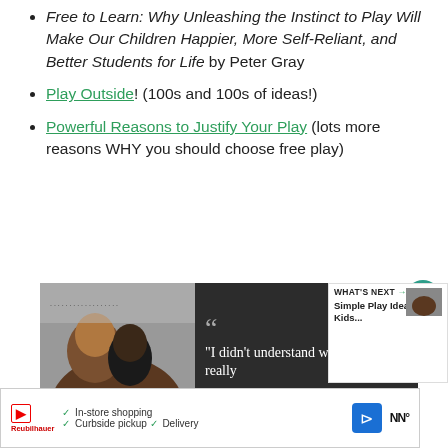Free to Learn: Why Unleashing the Instinct to Play Will Make Our Children Happier, More Self-Reliant, and Better Students for Life by Peter Gray
Play Outside! (100s and 100s of ideas!)
Powerful Reasons to Justify Your Play (lots more reasons WHY you should choose free play)
[Figure (photo): Advertisement image showing a couple with a quote about love, next to a WHAT'S NEXT panel for Simple Play Idea for Kids, and a bottom banner ad with in-store shopping, curbside pickup, and delivery options.]